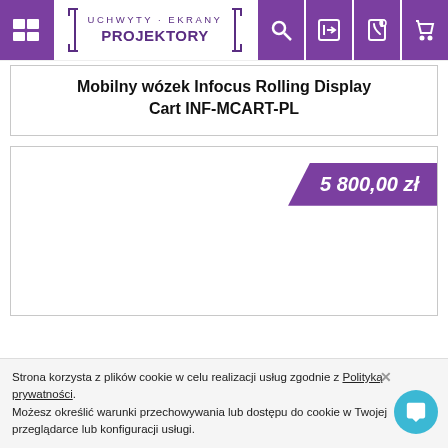Uchwyty · Ekrany Projektory — navigation bar with menu, logo, search, login, phone, cart icons
Mobilny wózek Infocus Rolling Display Cart INF-MCART-PL
5 800,00 zł
Strona korzysta z plików cookie w celu realizacji usług zgodnie z Polityką prywatności. Możesz określić warunki przechowywania lub dostępu do cookie w Twojej przeglądarce lub konfiguracji usługi.